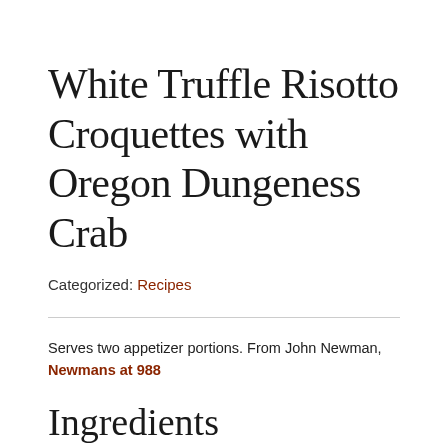White Truffle Risotto Croquettes with Oregon Dungeness Crab
Categorized: Recipes
Serves two appetizer portions. From John Newman, Newmans at 988
Ingredients